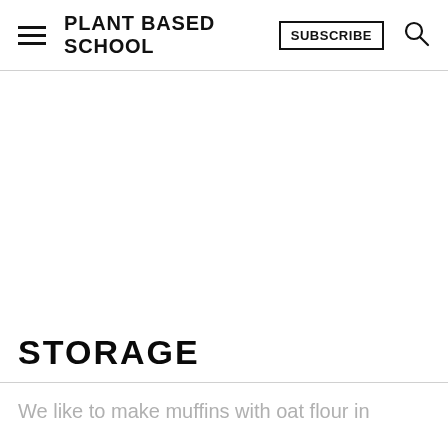PLANT BASED SCHOOL  SUBSCRIBE
[Figure (photo): Large white/blank image area representing a food photo placeholder]
STORAGE
We like to make muffins with oat flour in